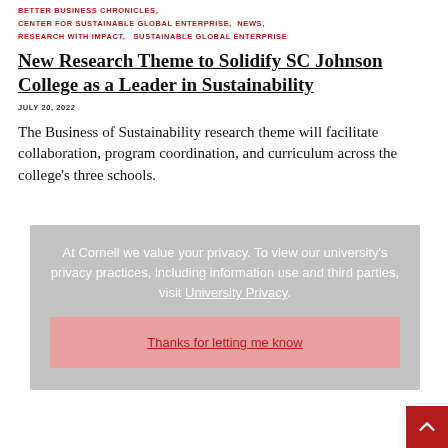BETTER BUSINESS CHRONICLES,
CENTER FOR SUSTAINABLE GLOBAL ENTERPRISE,  NEWS,
RESEARCH WITH IMPACT,   SUSTAINABLE GLOBAL ENTERPRISE
New Research Theme to Solidify SC Johnson College as a Leader in Sustainability
JULY 20, 2022
The Business of Sustainability research theme will facilitate collaboration, program coordination, and curriculum across the college's three schools.
At Cornell we value your privacy. To view our university's privacy practices, including information use and third parties, visit University Privacy.
Thanks for letting me know